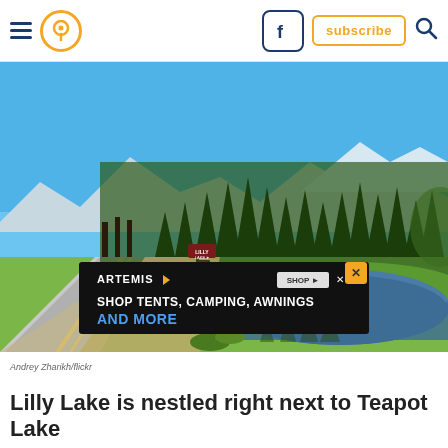Navigation bar with hamburger menu, location pin, Facebook button, subscribe button, search icon
[Figure (photo): Scenic outdoor photo showing a two-lane mountain road on the left curving away, with tall pine/fir trees in the middle, a calm lake or pond on the right reflecting the trees, green meadow grass, and clear blue sky. A brown directional sign reads 'Lilly Lake' near the road. Snow-capped mountains visible in the far background. Sunny summer day. An advertisement banner overlay at bottom reads 'ARTEMIS – SHOP TENTS, CAMPING, AWNINGS AND MORE' with a SHOP NOW button and close X button.]
Andrey Zharikh/flickr
Lilly Lake is nestled right next to Teapot Lake